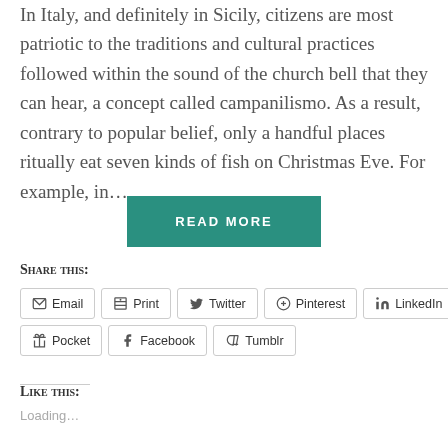In Italy, and definitely in Sicily, citizens are most patriotic to the traditions and cultural practices followed within the sound of the church bell that they can hear, a concept called campanilismo. As a result, contrary to popular belief, only a handful places ritually eat seven kinds of fish on Christmas Eve. For example, in…
READ MORE
Share this:
Email  Print  Twitter  Pinterest  LinkedIn  Pocket  Facebook  Tumblr
Like this:
Loading…